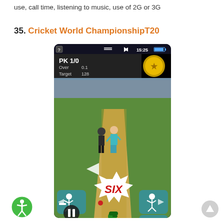use, call time, listening to music, use of 2G or 3G
35. Cricket World ChampionshipT20
[Figure (screenshot): Screenshot of Cricket World Championship T20 mobile game showing a cricket pitch with two player figures, a 'SIX' burst graphic, game controls at the bottom, score showing PK 1/0, Over 0.1, Target 128, and status bar showing 15:25]